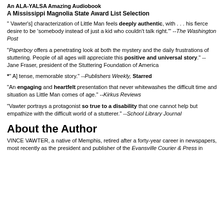An ALA-YALSA Amazing Audiobook
A Mississippi Magnolia State Award List Selection
" Vawter's] characterization of Little Man feels deeply authentic, with . . . his fierce desire to be 'somebody instead of just a kid who couldn't talk right.'" --The Washington Post
"Paperboy offers a penetrating look at both the mystery and the daily frustrations of stuttering. People of all ages will appreciate this positive and universal story." --Jane Fraser, president of the Stuttering Foundation of America
*" A] tense, memorable story." --Publishers Weekly, Starred
"An engaging and heartfelt presentation that never whitewashes the difficult time and situation as Little Man comes of age." --Kirkus Reviews
"Vawter portrays a protagonist so true to a disability that one cannot help but empathize with the difficult world of a stutterer." --School Library Journal
About the Author
VINCE VAWTER, a native of Memphis, retired after a forty-year career in newspapers, most recently as the president and publisher of the Evansville Courier & Press in